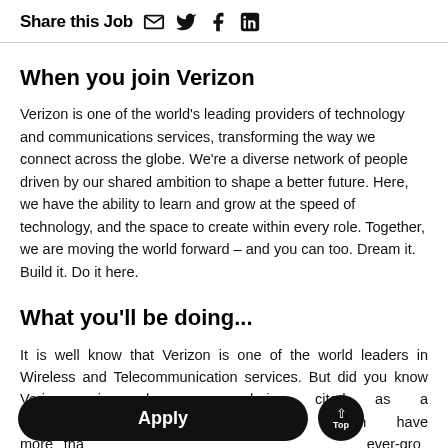Share this Job [email] [twitter] [facebook] [linkedin]
When you join Verizon
Verizon is one of the world's leading providers of technology and communications services, transforming the way we connect across the globe. We're a diverse network of people driven by our shared ambition to shape a better future. Here, we have the ability to learn and grow at the speed of technology, and the space to create within every role. Together, we are moving the world forward – and you can too. Dream it. Build it. Do it here.
What you'll be doing...
It is well know that Verizon is one of the world leaders in Wireless and Telecommunication services. But did you know Verizon is also now being cited as a m... Curren... have more tha... ever-gro... market. Verizon helps provide cyber security solution...